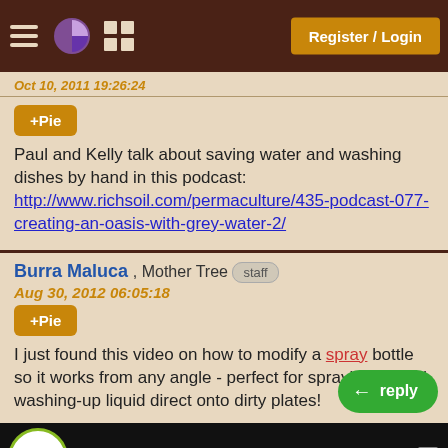Register / Login
Oct 10, 2011 19:26:24
+Pie
Paul and Kelly talk about saving water and washing dishes by hand in this podcast:
http://www.richsoil.com/permaculture/435-podcast-077-creating-an-oasis-with-grey-water-2/
Burra Maluca , Mother Tree staff
Aug 30, 2012 06:05:18
+Pie
I just found this video on how to modify a spray bottle so it works from any angle - perfect for spraying diluted washing-up liquid direct onto dirty plates!
[Figure (screenshot): Video thumbnail showing DIY badge and text 'How to make a spray bottle that ...']